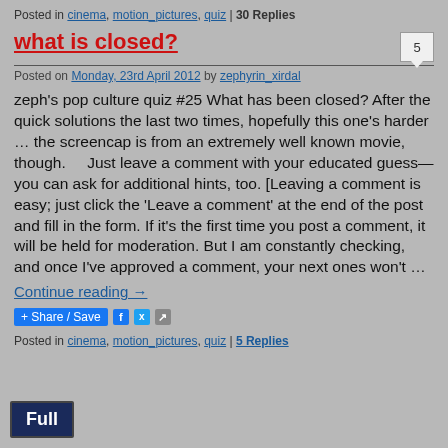Posted in cinema, motion_pictures, quiz | 30 Replies
what is closed?
Posted on Monday, 23rd April 2012 by zephyrin_xirdal
zeph’s pop culture quiz #25 What has been closed? After the quick solutions the last two times, hopefully this one’s harder … the screencap is from an extremely well known movie, though.     Just leave a comment with your educated guess—you can ask for additional hints, too. [Leaving a comment is easy; just click the ‘Leave a comment’ at the end of the post and fill in the form. If it’s the first time you post a comment, it will be held for moderation. But I am constantly checking, and once I’ve approved a comment, your next ones won’t …
Continue reading →
Share / Save
Posted in cinema, motion_pictures, quiz | 5 Replies
[Figure (screenshot): Full button - dark blue button with white text 'Full']